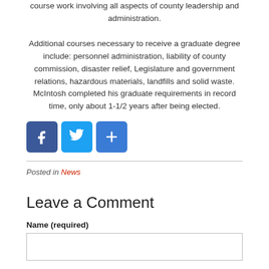course work involving all aspects of county leadership and administration. Additional courses necessary to receive a graduate degree include: personnel administration, liability of county commission, disaster relief, Legislature and government relations, hazardous materials, landfills and solid waste. McIntosh completed his graduate requirements in record time, only about 1-1/2 years after being elected.
[Figure (other): Social sharing buttons: Facebook (blue), Twitter (light blue), Share/Plus (blue)]
Posted in News
Leave a Comment
Name (required)